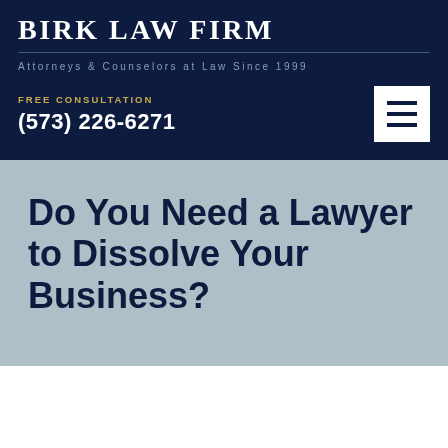BIRK LAW FIRM
Attorneys & Counselors at Law Since 1999
FREE CONSULTATION
(573) 226-6271
Do You Need a Lawyer to Dissolve Your Business?